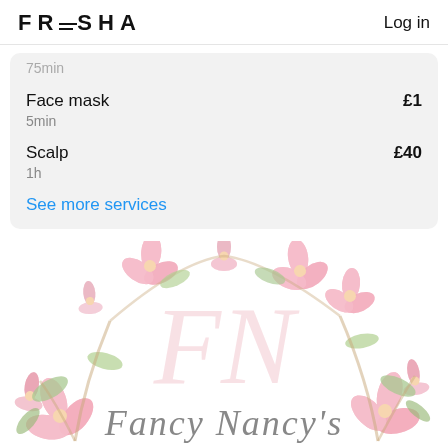FRESHA  Log in
75min
Face mask  £1
5min
Scalp  £40
1h
See more services
[Figure (logo): Fancy Nancy's Beauty Salon logo with watercolor cherry blossom flowers around the border, a large pink FN monogram watermark in the center, script text reading 'Fancy Nancy's' and spaced serif text 'BEAUTY SALON' below]